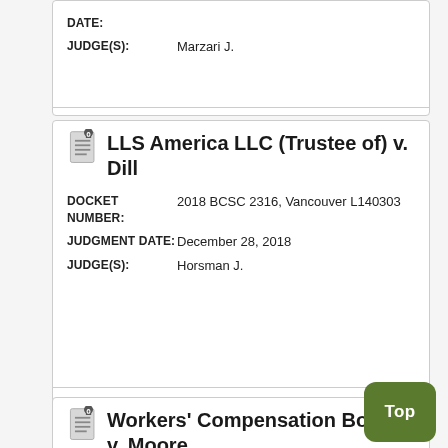| DATE: |  |
| JUDGE(S): | Marzari J. |
LLS America LLC (Trustee of) v. Dill
| DOCKET NUMBER: | 2018 BCSC 2316, Vancouver L140303 |
| JUDGMENT DATE: | December 28, 2018 |
| JUDGE(S): | Horsman J. |
Workers' Compensation Board v. Moore
| DOCKET | 2011 BCSC 459, Vancouver |